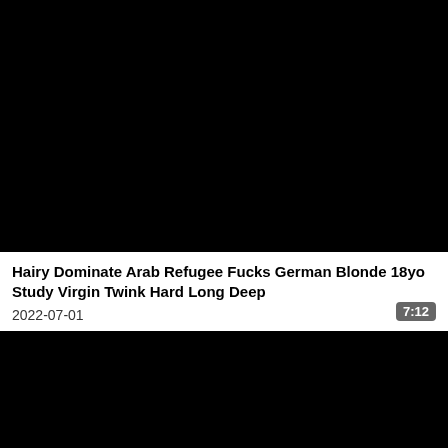[Figure (photo): Black video thumbnail placeholder, first video]
Hairy Dominate Arab Refugee Fucks German Blonde 18yo Study Virgin Twink Hard Long Deep
2022-07-01
7:12
[Figure (photo): Black video thumbnail placeholder, second video]